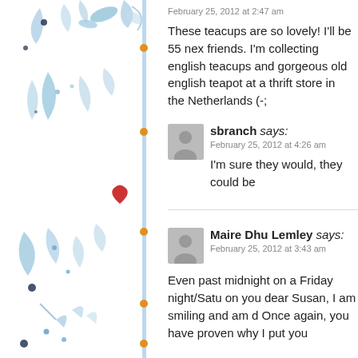February 25, 2012 at 2:47 am
These teacups are so lovely! I'll be 55 nex friends. I'm collecting english teacups and gorgeous old english teapot at a thrift store in the Netherlands (-;
sbranch says:
February 25, 2012 at 4:26 am
I'm sure they would, they could be
Maire Dhu Lemley says:
February 25, 2012 at 3:43 am
Even past midnight on a Friday night/Satu on you dear Susan, I am smiling and am d Once again, you have proven why I put you